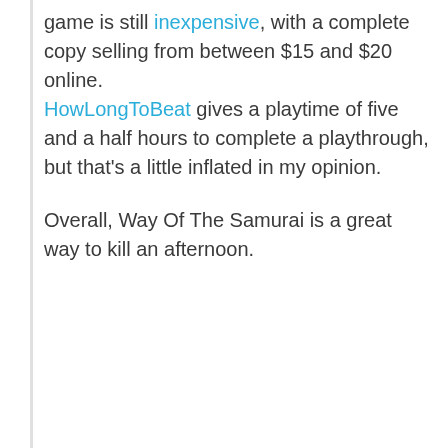game is still inexpensive, with a complete copy selling from between $15 and $20 online. HowLongToBeat gives a playtime of five and a half hours to complete a playthrough, but that's a little inflated in my opinion.
Overall, Way Of The Samurai is a great way to kill an afternoon.